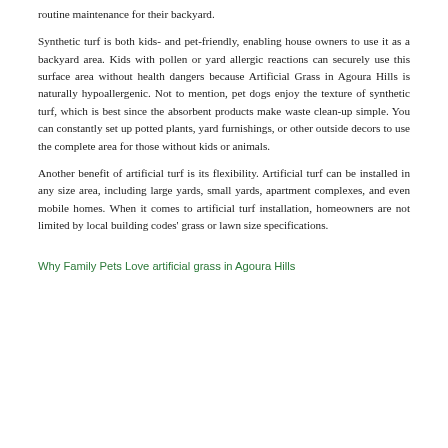routine maintenance for their backyard.
Synthetic turf is both kids- and pet-friendly, enabling house owners to use it as a backyard area. Kids with pollen or yard allergic reactions can securely use this surface area without health dangers because Artificial Grass in Agoura Hills is naturally hypoallergenic. Not to mention, pet dogs enjoy the texture of synthetic turf, which is best since the absorbent products make waste clean-up simple. You can constantly set up potted plants, yard furnishings, or other outside decors to use the complete area for those without kids or animals.
Another benefit of artificial turf is its flexibility. Artificial turf can be installed in any size area, including large yards, small yards, apartment complexes, and even mobile homes. When it comes to artificial turf installation, homeowners are not limited by local building codes' grass or lawn size specifications.
Why Family Pets Love artificial grass in Agoura Hills